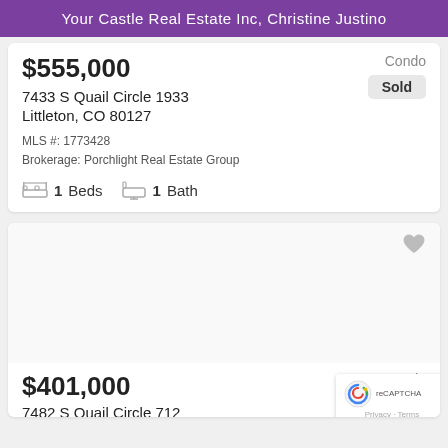Your Castle Real Estate Inc, Christine Justino
$555,000
Condo
Sold
7433 S Quail Circle 1933
Littleton, CO 80127
MLS #: 1773428
Brokerage: Porchlight Real Estate Group
1 Beds   1 Bath
[Figure (photo): Property listing image placeholder (blank/empty)]
$401,000
Condo
Sold
7482 S Quail Circle 712